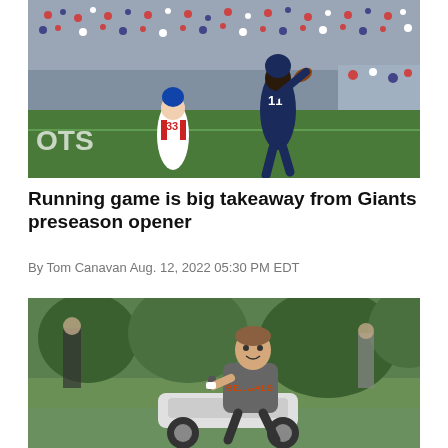[Figure (photo): NFL football action photo showing a New England Patriots player (jersey #11) catching or making a play in the end zone area, with a New York Giants defender (#33) nearby. Large crowd visible in the background at a stadium.]
Running game is big takeaway from Giants preseason opener
By Tom Canavan Aug. 12, 2022 05:30 PM EDT
[Figure (photo): A Cincinnati Bengals player sitting on a motorized cart/scooter on what appears to be a practice field. The player is wearing a gray Bengals shirt. Green trees are visible in the background along with other people on the field.]